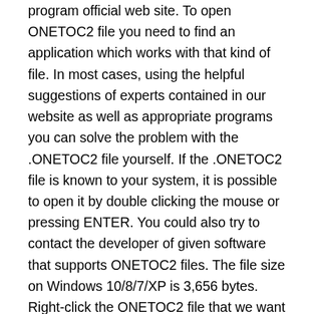program official web site. To open ONETOC2 file you need to find an application which works with that kind of file. In most cases, using the helpful suggestions of experts contained in our website as well as appropriate programs you can solve the problem with the .ONETOC2 file yourself. If the .ONETOC2 file is known to your system, it is possible to open it by double clicking the mouse or pressing ENTER. You could also try to contact the developer of given software that supports ONETOC2 files. The file size on Windows 10/8/7/XP is 3,656 bytes. Right-click the ONETOC2 file that we want to open, then clicking the option "Open with" Then go to the "Choose default program" and we look for the path where our new application has been installed (in most cases it is the "Program Files" directory on drive C: at our computer